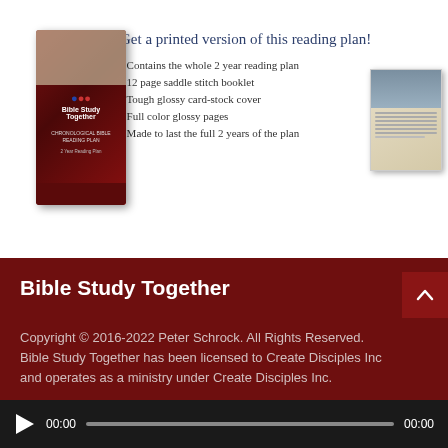[Figure (illustration): Promotional banner showing a Bible Study Together reading plan booklet cover on the left, bullet points in the center, and a booklet interior preview on the right]
Get a printed version of this reading plan!
Contains the whole 2 year reading plan
12 page saddle stitch booklet
Tough glossy card-stock cover
Full color glossy pages
Made to last the full 2 years of the plan
Bible Study Together
Copyright © 2016-2022 Peter Schrock. All Rights Reserved. Bible Study Together has been licensed to Create Disciples Inc and operates as a ministry under Create Disciples Inc.
Copyright and Permissions